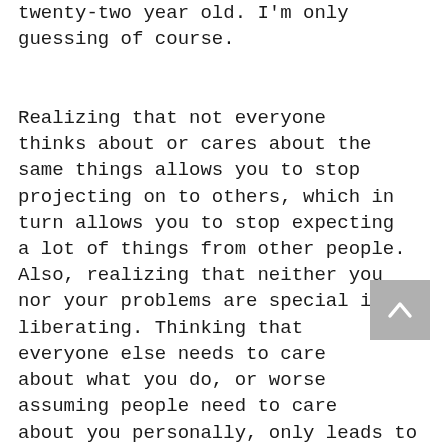twenty-two year old. I'm only guessing of course.

Realizing that not everyone thinks about or cares about the same things allows you to stop projecting on to others, which in turn allows you to stop expecting a lot of things from other people. Also, realizing that neither you nor your problems are special is liberating. Thinking that everyone else needs to care about what you do, or worse assuming people need to care about you personally, only leads to frustration when they do not. This is yet another form of clinging and frustration is another